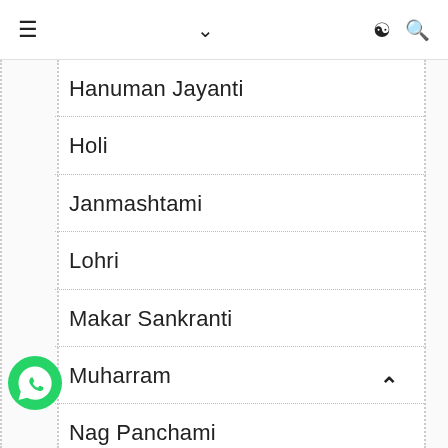≡  ∨  ☾ 🔍
Hanuman Jayanti
Holi
Janmashtami
Lohri
Makar Sankranti
Muharram
Nag Panchami
Narasimha Jayanti